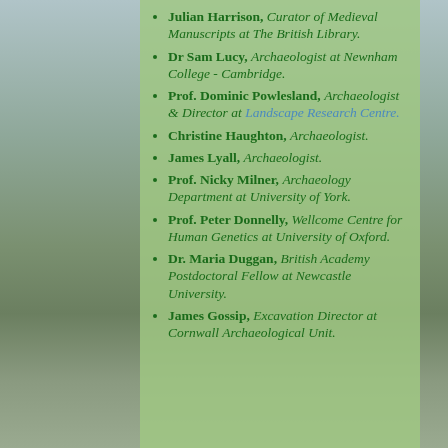Julian Harrison, Curator of Medieval Manuscripts at The British Library.
Dr Sam Lucy, Archaeologist at Newnham College - Cambridge.
Prof. Dominic Powlesland, Archaeologist & Director at Landscape Research Centre.
Christine Haughton, Archaeologist.
James Lyall, Archaeologist.
Prof. Nicky Milner, Archaeology Department at University of York.
Prof. Peter Donnelly, Wellcome Centre for Human Genetics at University of Oxford.
Dr. Maria Duggan, British Academy Postdoctoral Fellow at Newcastle University.
James Gossip, Excavation Director at Cornwall Archaeological Unit.